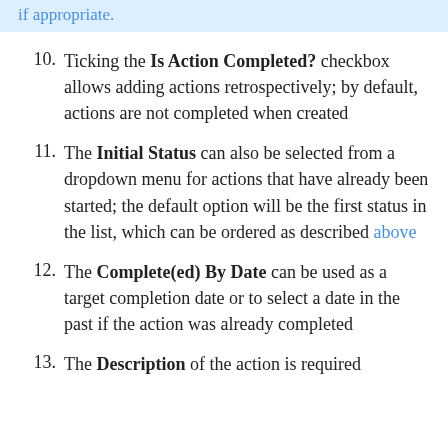if appropriate.
10. Ticking the Is Action Completed? checkbox allows adding actions retrospectively; by default, actions are not completed when created
11. The Initial Status can also be selected from a dropdown menu for actions that have already been started; the default option will be the first status in the list, which can be ordered as described above
12. The Complete(ed) By Date can be used as a target completion date or to select a date in the past if the action was already completed
13. The Description of the action is required